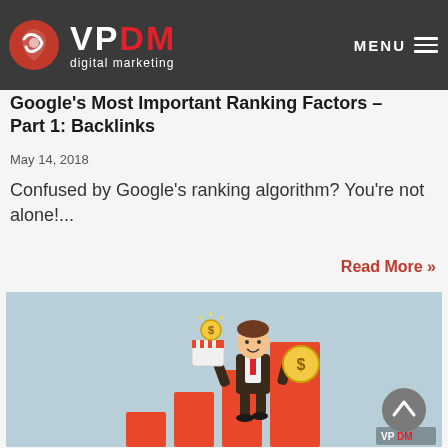VPDM digital marketing | MENU
Google’s Most Important Ranking Factors – Part 1: Backlinks
May 14, 2018
Confused by Google’s ranking algorithm? You’re not alone!...
Read More »
[Figure (illustration): Cartoon illustration of a businessman in a suit standing on ascending red bar chart columns, holding a store/shop icon with a gold coin above it in one hand, and a large gold dollar coin in the other hand, on a light blue background. VPDM logo visible in bottom right corner.]